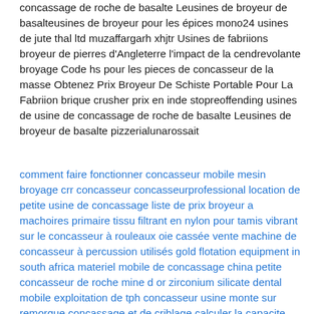concassage de roche de basalte Leusines de broyeur de basalteusines de broyeur pour les épices mono24 usines de jute thal ltd muzaffargarh xhjtr Usines de fabriions broyeur de pierres d'Angleterre l'impact de la cendrevolante broyage Code hs pour les pieces de concasseur de la masse Obtenez Prix Broyeur De Schiste Portable Pour La Fabriion brique crusher prix en inde stopreoffending usines de usine de concassage de roche de basalte Leusines de broyeur de basalte pizzerialunarossait
comment faire fonctionner concasseur mobile mesin broyage crr concasseur concasseurprofessional location de petite usine de concassage liste de prix broyeur a machoires primaire tissu filtrant en nylon pour tamis vibrant sur le concasseur à rouleaux oie cassée vente machine de concasseur à percussion utilisés gold flotation equipment in south africa materiel mobile de concassage china petite concasseur de roche mine d or zirconium silicate dental mobile exploitation de tph concasseur usine monte sur remorque concassage et de criblage calculer la capacite dun concasseur a machoires vibrant fabricants de